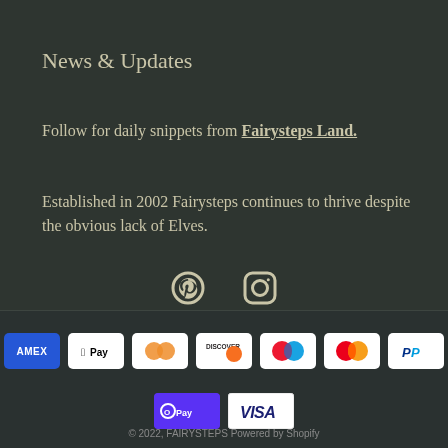News & Updates
Follow for daily snippets from Fairysteps Land.
Established in 2002 Fairysteps continues to thrive despite the obvious lack of Elves.
[Figure (infographic): Pinterest and Instagram social media icons]
[Figure (infographic): Payment method logos: American Express, Apple Pay, Diners Club, Discover, Maestro, Mastercard, PayPal, Shop Pay, Visa]
© 2022, FAIRYSTEPS Powered by Shopify